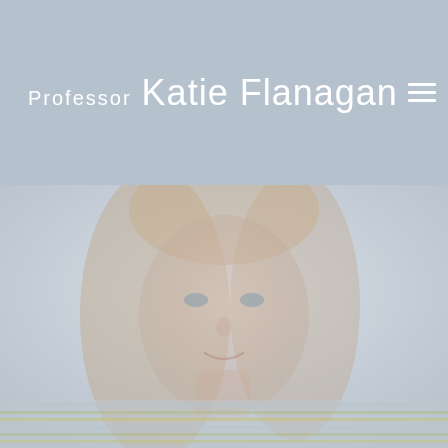Professor Katie Flanagan
[Figure (photo): Faded portrait photograph of Professor Katie Flanagan, a woman with long straight light brown hair, wearing a striped top, smiling, against a light grey background.]